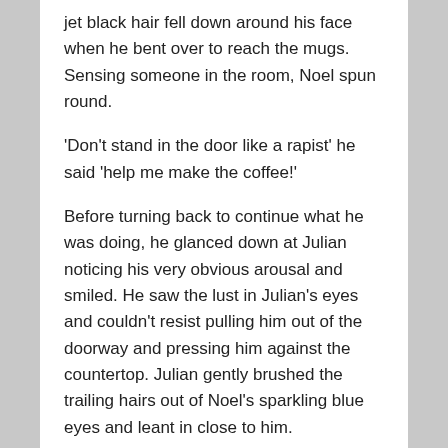jet black hair fell down around his face when he bent over to reach the mugs. Sensing someone in the room, Noel spun round.
'Don't stand in the door like a rapist' he said 'help me make the coffee!'
Before turning back to continue what he was doing, he glanced down at Julian noticing his very obvious arousal and smiled. He saw the lust in Julian's eyes and couldn't resist pulling him out of the doorway and pressing him against the countertop. Julian gently brushed the trailing hairs out of Noel's sparkling blue eyes and leant in close to him.
'Every time I see you I smile, you know that?' he